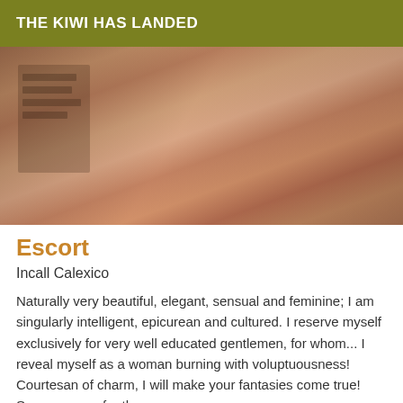THE KIWI HAS LANDED
[Figure (photo): Photo of a woman in a room with bookshelves visible in background]
Escort
Incall Calexico
Naturally very beautiful, elegant, sensual and feminine; I am singularly intelligent, epicurean and cultured. I reserve myself exclusively for very well educated gentlemen, for whom... I reveal myself as a woman burning with voluptuousness! Courtesan of charm, I will make your fantasies come true! See you soon for the